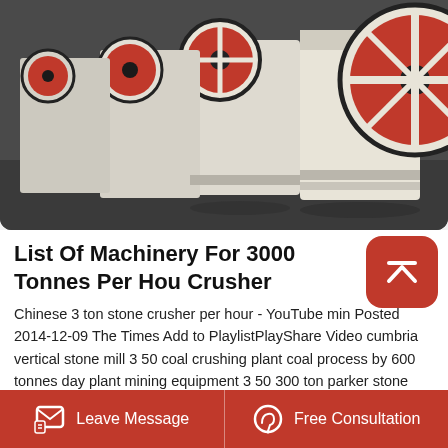[Figure (photo): Row of white and red industrial jaw crushers lined up on a factory floor, showing large red flywheel on the right side]
List Of Machinery For 3000 Tonnes Per Hour Crusher
Chinese 3 ton stone crusher per hour - YouTube min Posted 2014-12-09 The Times Add to PlaylistPlayShare Video cumbria vertical stone mill 3 50 coal crushing plant coal process by 600 tonnes day plant mining equipment 3 50 300 ton parker stone crusher - seshadrivaradhanin 80 Tonne stone crusher on 5
Leave Message   Free Consultation